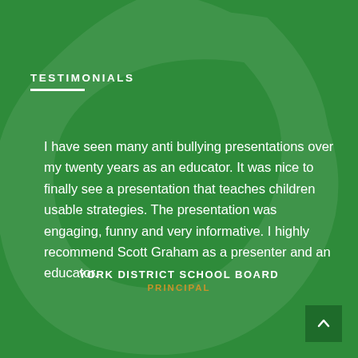TESTIMONIALS
I have seen many anti bullying presentations over my twenty years as an educator. It was nice to finally see a presentation that teaches children usable strategies. The presentation was engaging, funny and very informative. I highly recommend Scott Graham as a presenter and an educator.
YORK DISTRICT SCHOOL BOARD
PRINCIPAL